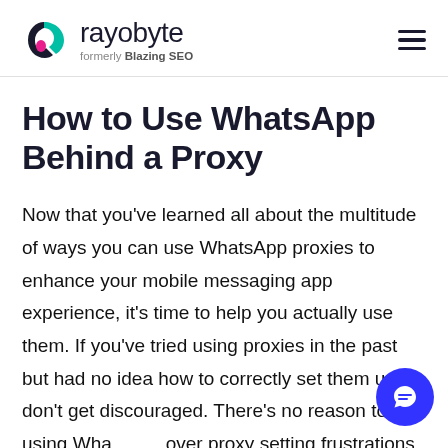rayobyte formerly Blazing SEO
How to Use WhatsApp Behind a Proxy
Now that you've learned all about the multitude of ways you can use WhatsApp proxies to enhance your mobile messaging app experience, it's time to help you actually use them. If you've tried using proxies in the past but had no idea how to correctly set them up, don't get discouraged. There's no reason to quit using WhatsApp over proxy setting frustrations. Besides, we're here to